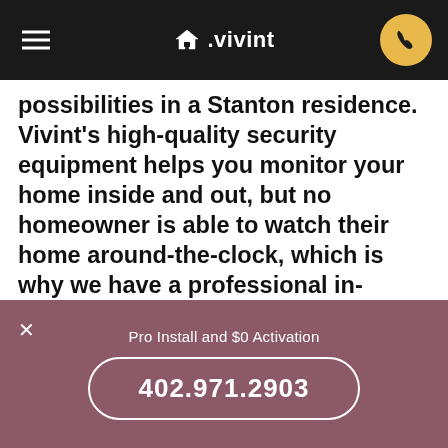vivint
possibilities in a Stanton residence. Vivint's high-quality security equipment helps you monitor your home inside and out, but no homeowner is able to watch their home around-the-clock, which is why we have a professional in-house monitoring team to do the job. We offer 24/7 monitoring and industry-leading response times, so whether an alarm is sent through the central monitoring st... or you've signaled for assistance through the Vivint Key Fob or the Vivint Panic Button, we can ensure
Pro Install and $0 Activation
402.971.2903